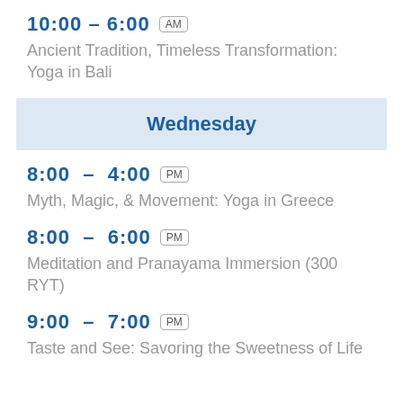10:00 – 6:00 AM
Ancient Tradition, Timeless Transformation: Yoga in Bali
Wednesday
8:00 – 4:00 PM
Myth, Magic, & Movement: Yoga in Greece
8:00 – 6:00 PM
Meditation and Pranayama Immersion (300 RYT)
9:00 – 7:00 PM
Taste and See: Savoring the Sweetness of Life